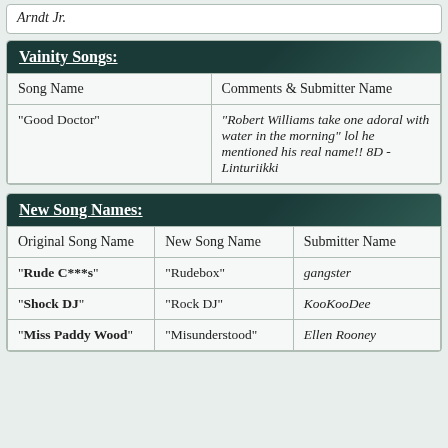Arndt Jr.
Vainity Songs:
| Song Name | Comments & Submitter Name |
| --- | --- |
| "Good Doctor" | "Robert Williams take one adoral with water in the morning" lol he mentioned his real name!! 8D - Linturiikki |
New Song Names:
| Original Song Name | New Song Name | Submitter Name |
| --- | --- | --- |
| "Rude C***s" | "Rudebox" | gangster |
| "Shock DJ" | "Rock DJ" | KooKooDee |
| "Miss Paddy Wood" | "Misunderstood" | Ellen Rooney |